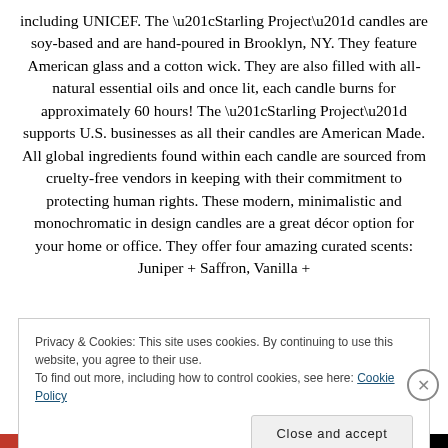including UNICEF. The “Starling Project” candles are soy-based and are hand-poured in Brooklyn, NY. They feature American glass and a cotton wick. They are also filled with all-natural essential oils and once lit, each candle burns for approximately 60 hours! The “Starling Project” supports U.S. businesses as all their candles are American Made. All global ingredients found within each candle are sourced from cruelty-free vendors in keeping with their commitment to protecting human rights. These modern, minimalistic and monochromatic in design candles are a great décor option for your home or office. They offer four amazing curated scents: Juniper + Saffron, Vanilla +
Privacy & Cookies: This site uses cookies. By continuing to use this website, you agree to their use.
To find out more, including how to control cookies, see here: Cookie Policy
Close and accept